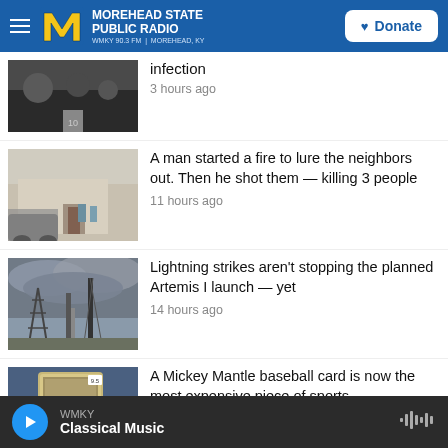MOREHEAD STATE PUBLIC RADIO | WMKY 90.3 FM | MOREHEAD, KY | Donate
infection
3 hours ago
A man started a fire to lure the neighbors out. Then he shot them — killing 3 people
11 hours ago
Lightning strikes aren't stopping the planned Artemis I launch — yet
14 hours ago
A Mickey Mantle baseball card is now the most expensive piece of sports
WMKY Classical Music